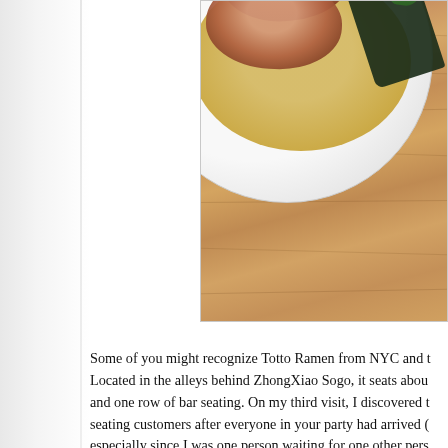[Figure (photo): A bowl of ramen (Totto Ramen) with chashu pork slices, nori seaweed, green onions, in a golden broth, placed on a wooden table surface. The photo is cropped showing the upper-right portion of the bowl.]
Some of you might recognize Totto Ramen from NYC and t... Located in the alleys behind ZhongXiao Sogo, it seats abou... and one row of bar seating. On my third visit, I discovered t... seating customers after everyone in your party had arrived (... especially since I was one person waiting for one other pers... even when the restaurant isn't full and there is no line.